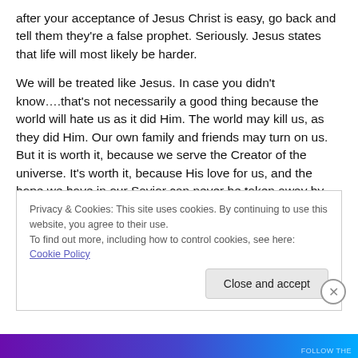after your acceptance of Jesus Christ is easy, go back and tell them they're a false prophet.  Seriously.  Jesus states that life will most likely be harder.
We will be treated like Jesus.  In case you didn't know….that's not necessarily a good thing because the world will hate us as it did Him.  The world may kill us, as they did Him.  Our own family and friends may turn on us.  But it is worth it, because we serve the Creator of the universe.  It's worth it, because His love for us, and the hope we have in our Savior can never be taken away by
Privacy & Cookies: This site uses cookies. By continuing to use this website, you agree to their use.
To find out more, including how to control cookies, see here: Cookie Policy